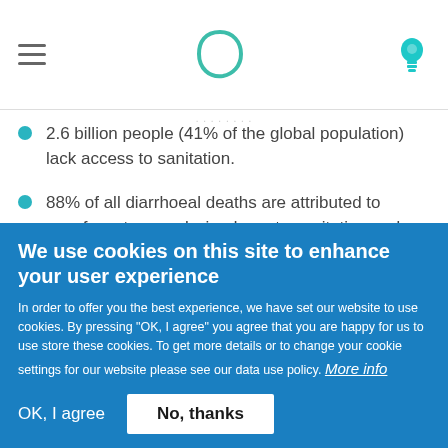Navigation bar with hamburger menu, Clover-like logo, and lightbulb icon
2.6 billion people (41% of the global population) lack access to sanitation.
88% of all diarrhoeal deaths are attributed to unsafe water supply, inadequate sanitation and hygiene.
Hand washing with soap is estimated to reduce the
We use cookies on this site to enhance your user experience
In order to offer you the best experience, we have set our website to use cookies. By pressing "OK, I agree" you agree that you are happy for us to use store these cookies. To get more details or to change your cookie settings for our website please see our data use policy. More info
OK, I agree   No, thanks